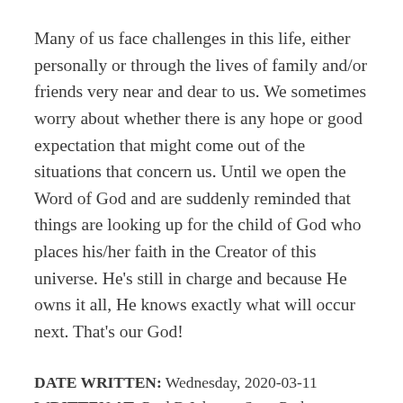Many of us face challenges in this life, either personally or through the lives of family and/or friends very near and dear to us. We sometimes worry about whether there is any hope or good expectation that might come out of the situations that concern us. Until we open the Word of God and are suddenly reminded that things are looking up for the child of God who places his/her faith in the Creator of this universe. He's still in charge and because He owns it all, He knows exactly what will occur next. That's our God!
DATE WRITTEN: Wednesday, 2020-03-11
WRITTEN AT: Paul B Johnson State Park, Hattiesburg, MS